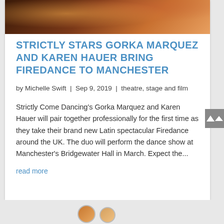[Figure (photo): A dark photo of dancers performing, showing dramatic lighting with warm orange tones at the top of a card layout]
STRICTLY STARS GORKA MARQUEZ AND KAREN HAUER BRING FIREDANCE TO MANCHESTER
by Michelle Swift  |  Sep 9, 2019  |  theatre, stage and film
Strictly Come Dancing's Gorka Marquez and Karen Hauer will pair together professionally for the first time as they take their brand new Latin spectacular Firedance around the UK. The duo will perform the dance show at Manchester's Bridgewater Hall in March. Expect the...
read more